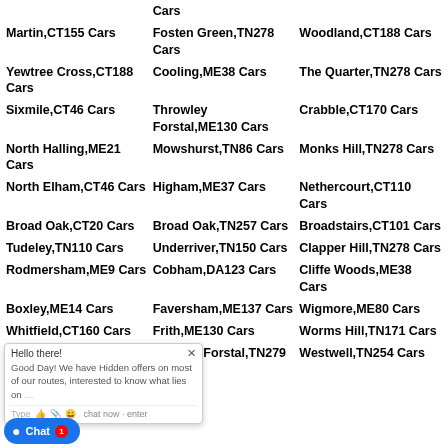Cars
Martin,CT155 Cars
Fosten Green,TN278 Cars
Woodland,CT188 Cars
Yewtree Cross,CT188 Cars
Cooling,ME38 Cars
The Quarter,TN278 Cars
Sixmile,CT46 Cars
Throwley Forstal,ME130 Cars
Crabble,CT170 Cars
North Halling,ME21 Cars
Mowshurst,TN86 Cars
Monks Hill,TN278 Cars
North Elham,CT46 Cars
Higham,ME37 Cars
Nethercourt,CT110 Cars
Broad Oak,CT20 Cars
Broad Oak,TN257 Cars
Broadstairs,CT101 Cars
Tudeley,TN110 Cars
Underriver,TN150 Cars
Clapper Hill,TN278 Cars
Rodmersham,ME9 Cars
Cobham,DA123 Cars
Cliffe Woods,ME38 Cars
Boxley,ME14 Cars
Faversham,ME137 Cars
Wigmore,ME80 Cars
Whitfield,CT160 Cars
Frith,ME130 Cars
Worms Hill,TN171 Cars
Ulcombe,ME170 Cars / Hares,CT46 Cars
Egerton Forstal,TN279 Cars
Westwell,TN254 Cars